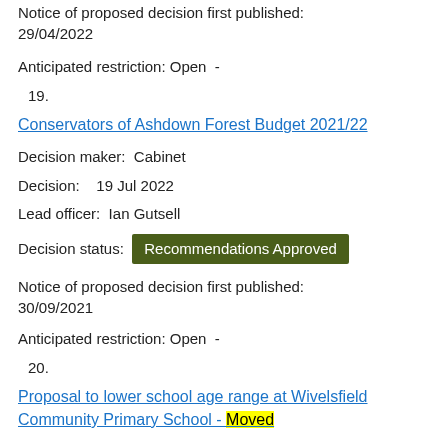Notice of proposed decision first published: 29/04/2022
Anticipated restriction: Open  -
19.
Conservators of Ashdown Forest Budget 2021/22
Decision maker:  Cabinet
Decision:   19 Jul 2022
Lead officer:  Ian Gutsell
Decision status:  Recommendations Approved
Notice of proposed decision first published: 30/09/2021
Anticipated restriction: Open  -
20.
Proposal to lower school age range at Wivelsfield Community Primary School - Moved